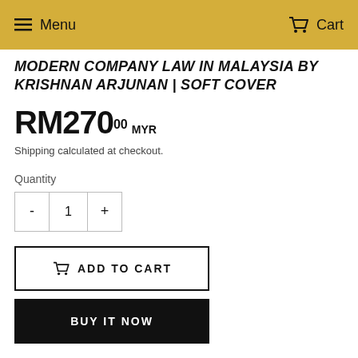Menu  Cart
MODERN COMPANY LAW IN MALAYSIA BY KRISHNAN ARJUNAN | SOFT COVER
RM270.00 MYR
Shipping calculated at checkout.
Quantity
1
ADD TO CART
BUY IT NOW